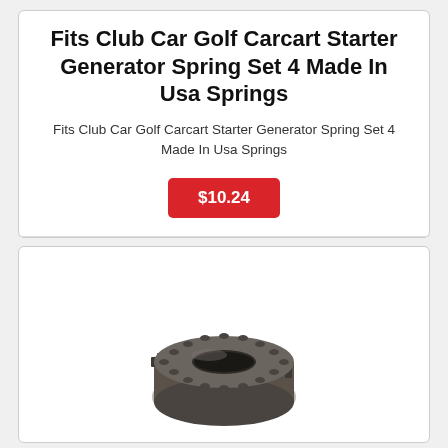Fits Club Car Golf Carcart Starter Generator Spring Set 4 Made In Usa Springs
Fits Club Car Golf Carcart Starter Generator Spring Set 4 Made In Usa Springs
$10.24
[Figure (photo): A small cylindrical metal gear/sprocket with teeth around its outer edge, shown in a perspective angle. The gear appears to be made of dark grey/graphite colored metal.]